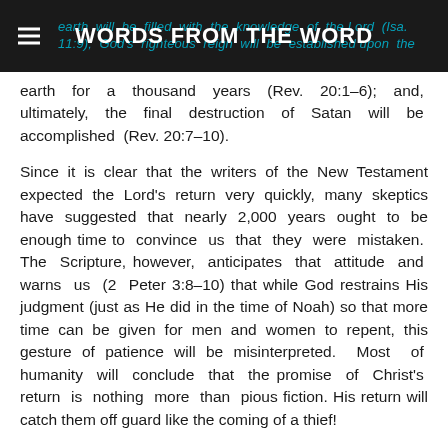WORDS FROM THE WORD
earth will be filled with the knowledge of the Lord (Isa. 11:9); God's righteous reign will be established upon the earth for a thousand years (Rev. 20:1–6); and, ultimately, the final destruction of Satan will be accomplished (Rev. 20:7–10).
Since it is clear that the writers of the New Testament expected the Lord's return very quickly, many skeptics have suggested that nearly 2,000 years ought to be enough time to convince us that they were mistaken. The Scripture, however, anticipates that attitude and warns us (2 Peter 3:8–10) that while God restrains His judgment (just as He did in the time of Noah) so that more time can be given for men and women to repent, this gesture of patience will be misinterpreted. Most of humanity will conclude that the promise of Christ's return is nothing more than pious fiction. His return will catch them off guard like the coming of a thief!